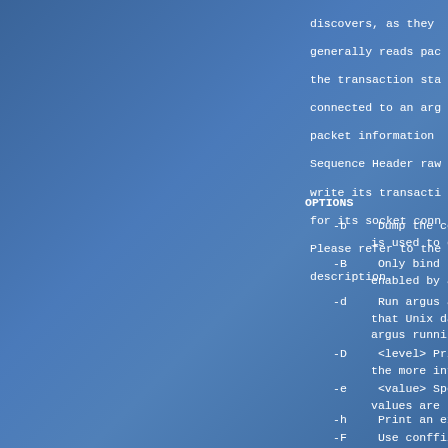discovers, as they generally reads pac the transaction sta connected to an arg packet information Sequence Header raw write its transacti for its socket conn Please refer to the description.
OPTIONS
-b    Dump the compi is used to deb
-B    Only bind to t enabled by a n
-d    Run argus as a that Unix daem argus running
-D    <level> Print the more infor
-e    <value> Specif values are num
-h    Print an expla
-F    Use conffile a set in this fi the last word